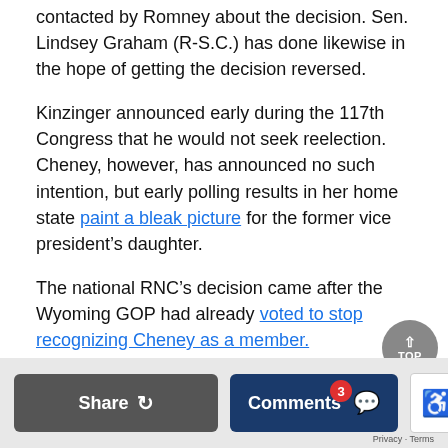contacted by Romney about the decision. Sen. Lindsey Graham (R-S.C.) has done likewise in the hope of getting the decision reversed.
Kinzinger announced early during the 117th Congress that he would not seek reelection. Cheney, however, has announced no such intention, but early polling results in her home state paint a bleak picture for the former vice president's daughter.
The national RNC's decision came after the Wyoming GOP had already voted to stop recognizing Cheney as a member.
From The Epoch Times
[Figure (screenshot): Footer bar with Share button, Comments button with badge count of 3, and reCAPTCHA widget. TOP scroll-to-top button in circular grey button.]